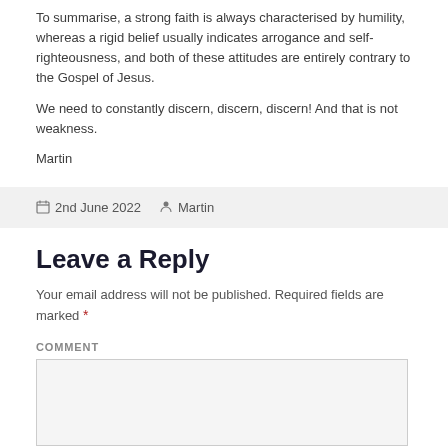To summarise, a strong faith is always characterised by humility, whereas a rigid belief usually indicates arrogance and self-righteousness, and both of these attitudes are entirely contrary to the Gospel of Jesus.
We need to constantly discern, discern, discern! And that is not weakness.
Martin
2nd June 2022  Martin
Leave a Reply
Your email address will not be published. Required fields are marked *
COMMENT